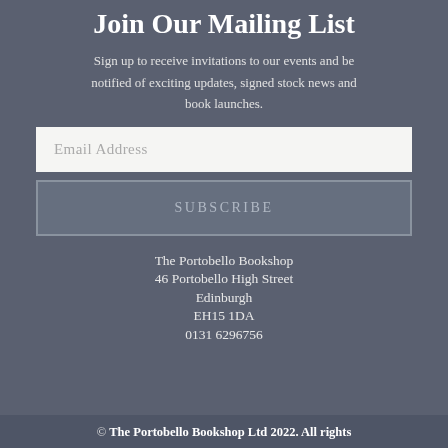Join Our Mailing List
Sign up to receive invitations to our events and be notified of exciting updates, signed stock news and book launches.
Email Address
SUBSCRIBE
The Portobello Bookshop
46 Portobello High Street
Edinburgh
EH15 1DA
0131 6296756
© The Portobello Bookshop Ltd 2022. All rights